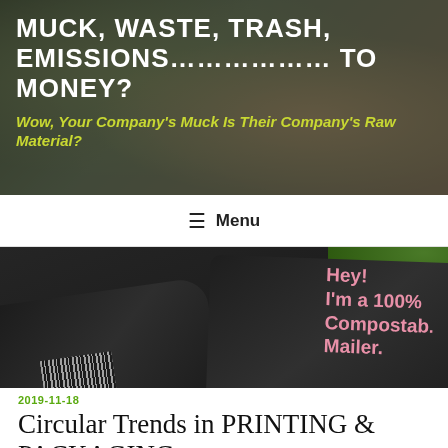[Figure (photo): Website header banner photo: hands holding dollar bills with blurred background, overlaid with site title text]
MUCK, WASTE, TRASH, EMISSIONS……………… TO MONEY?
Wow, Your Company's Muck Is Their Company's Raw Material?
≡ Menu
[Figure (photo): Photo of dark/black compostable mailer bags on pavement. One bag has pink text reading: Hey! I'm a 100% Compostable Mailer.]
2019-11-18
Circular Trends in PRINTING & PACKAGING